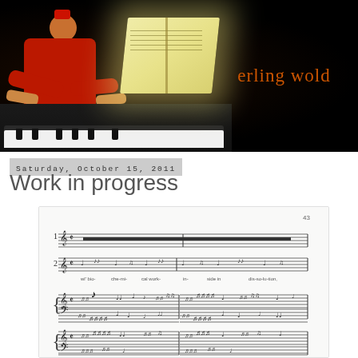[Figure (photo): Black background header banner showing a pianist in a red shirt playing a grand piano with sheet music on the stand, with 'erling wold' text in orange on the right side]
Saturday, October 15, 2011
Work in progress
[Figure (illustration): Musical score excerpt showing multiple staves with complex notation including notes, rests, and lyrics/text markings below the staves]